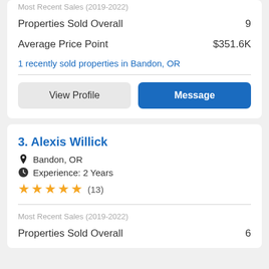Most Recent Sales (2019-2022)
|  |  |
| --- | --- |
| Properties Sold Overall | 9 |
| Average Price Point | $351.6K |
1 recently sold properties in Bandon, OR
View Profile
Message
3. Alexis Willick
Bandon, OR
Experience: 2 Years
★★★★★ (13)
Most Recent Sales (2019-2022)
|  |  |
| --- | --- |
| Properties Sold Overall | 6 |